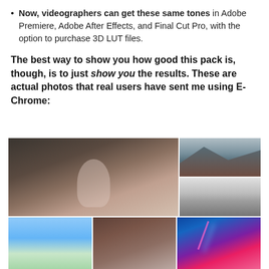Now, videographers can get these same tones in Adobe Premiere, Adobe After Effects, and Final Cut Pro, with the option to purchase 3D LUT files.
The best way to show you how good this pack is, though, is to just show you the results. These are actual photos that real users have sent me using E-Chrome:
[Figure (photo): Grid of 5 sample photos showing E-Chrome preset results: an elderly man seated against a textured wall, a mountain landscape, a blonde woman portrait, a sky/nature scene, an arched stone bridge, and a concert with laser lights.]